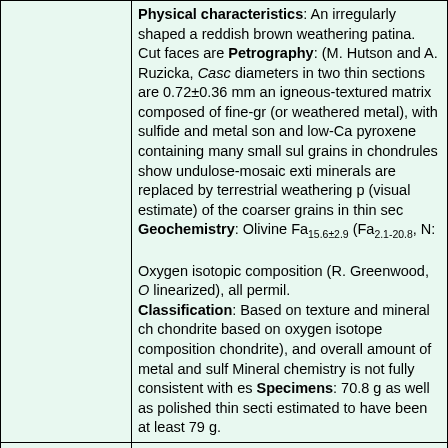Physical characteristics: An irregularly shaped ... a reddish brown weathering patina. Cut faces are ... Petrography: (M. Hutson and A. Ruzicka, Casc... diameters in two thin sections are 0.72±0.36 mm ... an igneous-textured matrix composed of fine-gra... (or weathered metal), with sulfide and metal son... and low-Ca pyroxene containing many small sul... grains in chondrules show undulose-mosaic exti... minerals are replaced by terrestrial weathering p... (visual estimate) of the coarser grains in thin sec... Geochemistry: Olivine Fa15.6±2.9 (Fa2.1-20.8, N... Oxygen isotopic composition (R. Greenwood, O... linearized), all permil. Classification: Based on texture and mineral che... chondrite based on oxygen isotope composition... chondrite), and overall amount of metal and sulf... Mineral chemistry is not fully consistent with es... Specimens: 70.8 g as well as polished thin secti... estimated to have been at least 79 g.
| Field | Value |
| --- | --- |
| Data from: |  |
|  | MB104 |
|  | Table 0 |
|  | Line 0: |
| Place of purchase: | Hillsboro, Oregon |
| Date: | P 2003 Nov 23 |
| Mass (g): | 79 |
| Pieces: | 1 |